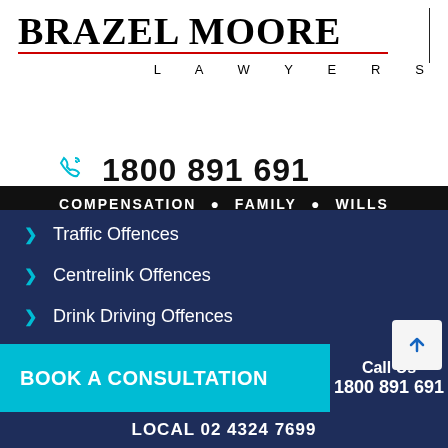[Figure (logo): Brazel Moore Lawyers logo with firm name in bold serif font, red underline, vertical separator, and LAWYERS text]
COMPENSATION • FAMILY • WILLS
1800 891 691
Traffic Offences
Centrelink Offences
Drink Driving Offences
License Suspensions
Arrests
Break and Enters
BOOK A CONSULTATION
Call Us 1800 891 691
LOCAL 02 4324 7699